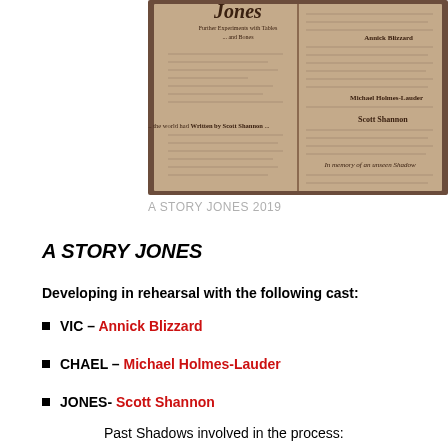[Figure (illustration): Book cover image showing 'Jones: Further Experiments with Tables and Bones', open book with two pages visible, printed text and names including Annick Blizzard, Michael Holmes-Lauder, Scott Shannon. Written by Scott Shannon noted inside. Brown/tan colored book cover style illustration.]
A STORY JONES 2019
A STORY JONES
Developing in rehearsal with the following cast:
VIC – Annick Blizzard
CHAEL – Michael Holmes-Lauder
JONES- Scott Shannon
Past Shadows involved in the process: